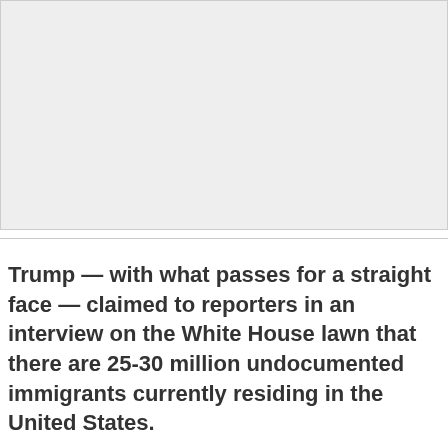[Figure (other): Light gray rectangular placeholder image area]
Trump — with what passes for a straight face — claimed to reporters in an interview on the White House lawn that there are 25-30 million undocumented immigrants currently residing in the United States.